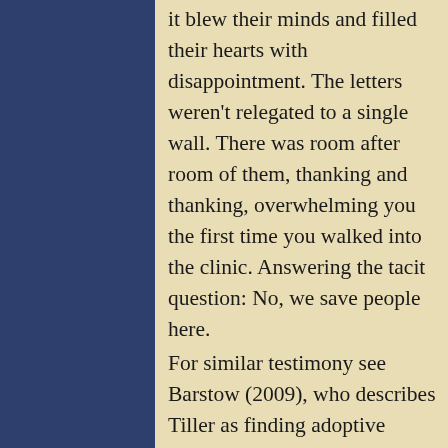it blew their minds and filled their hearts with disappointment. The letters weren't relegated to a single wall. There was room after room of them, thanking and thanking, overwhelming you the first time you walked into the clinic. Answering the tacit question: No, we save people here.
For similar testimony see Barstow (2009), who describes Tiller as finding adoptive parents to help women avoid abortions and putting women up in his home.
On the other hand, Operation Rescue claims to have contrary testimony. Out of tens of thousands of abortions performed in Tiller's clinic, it is a statistical certainty that on occasion